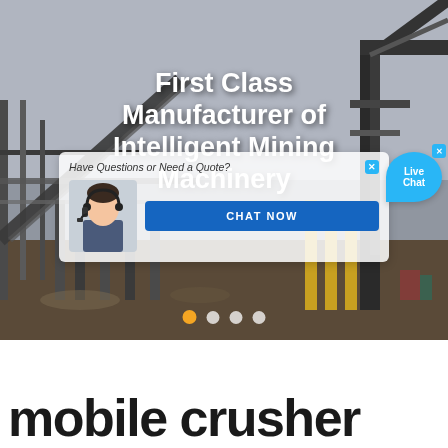[Figure (photo): Industrial mining facility with conveyor belts and steel scaffolding structures under a grey sky. Overlay elements include a live chat popup with an agent avatar, 'CHAT NOW' button, and 'Live Chat' speech bubble. Slide navigation dots appear at the bottom.]
First Class Manufacturer of Intelligent Mining Machinery
mobile crusher